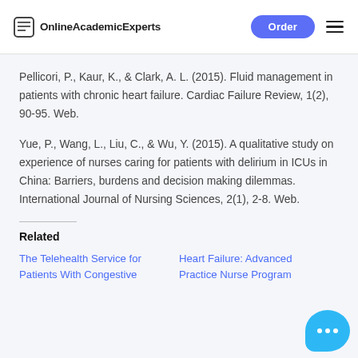OnlineAcademicExperts | Order
Pellicori, P., Kaur, K., & Clark, A. L. (2015). Fluid management in patients with chronic heart failure. Cardiac Failure Review, 1(2), 90-95. Web.
Yue, P., Wang, L., Liu, C., & Wu, Y. (2015). A qualitative study on experience of nurses caring for patients with delirium in ICUs in China: Barriers, burdens and decision making dilemmas. International Journal of Nursing Sciences, 2(1), 2-8. Web.
Related
The Telehealth Service for Patients With Congestive
Heart Failure: Advanced Practice Nurse Program